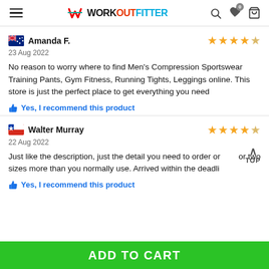WorkoutFitter — navigation bar with hamburger menu, logo, search, wishlist, cart
Amanda F. — 23 Aug 2022 — 4 stars
No reason to worry where to find Men's Compression Sportswear Training Pants, Gym Fitness, Running Tights, Leggings online. This store is just the perfect place to get everything you need
Yes, I recommend this product
Walter Murray — 22 Aug 2022 — 4 stars
Just like the description, just the detail you need to order one or two sizes more than you normally use. Arrived within the deadli
Yes, I recommend this product
ADD TO CART